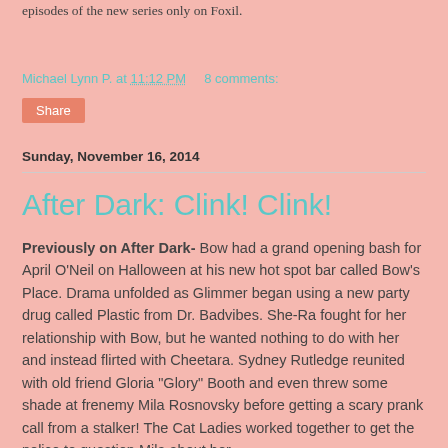episodes of the new series only on Foxil.
Michael Lynn P. at 11:12 PM    8 comments:
Share
Sunday, November 16, 2014
After Dark: Clink! Clink!
Previously on After Dark- Bow had a grand opening bash for April O'Neil on Halloween at his new hot spot bar called Bow's Place. Drama unfolded as Glimmer began using a new party drug called Plastic from Dr. Badvibes. She-Ra fought for her relationship with Bow, but he wanted nothing to do with her and instead flirted with Cheetara. Sydney Rutledge reunited with old friend Gloria "Glory" Booth and even threw some shade at frenemy Mila Rosnovsky before getting a scary prank call from a stalker! The Cat Ladies worked together to get the police to question Mila about her